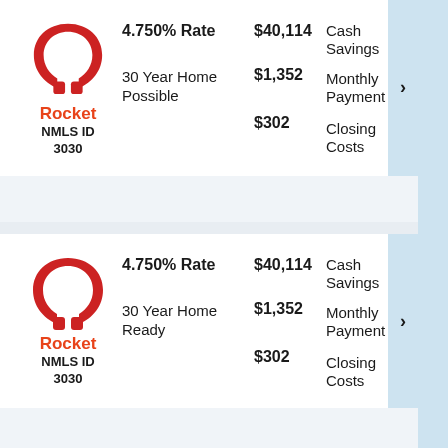[Figure (logo): Rocket Mortgage horseshoe logo in red, with brand name 'Rocket' in orange and 'NMLS ID 3030' below]
4.750% Rate
30 Year Home Possible
$40,114 Cash Savings
$1,352 Monthly Payment
$302 Closing Costs
[Figure (logo): Rocket Mortgage horseshoe logo in red, with brand name 'Rocket' in orange and 'NMLS ID 3030' below]
4.750% Rate
30 Year Home Ready
$40,114 Cash Savings
$1,352 Monthly Payment
$302 Closing Costs